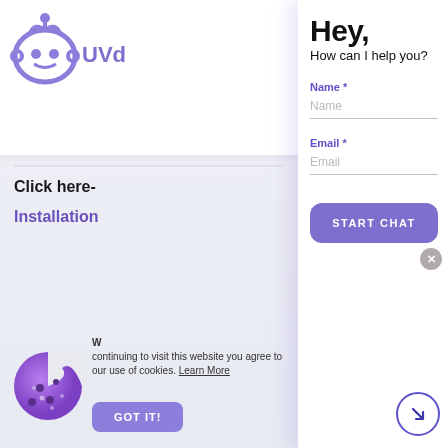[Figure (screenshot): Background website page showing UVD brand logo (purple robot head icon with 'UVd' text), partial text 'Click here-' and 'Installation' in purple, and a screenshot thumbnail of a support ticket interface]
Hey,
How can I help you?
Name *
Name
Email *
Email
START CHAT
continuing to visit this website you agree to our use of cookies. Learn More
GOT IT!